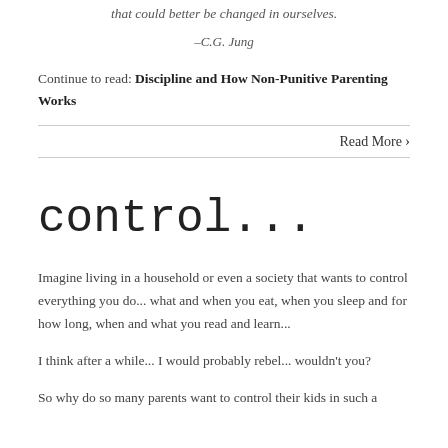that could better be changed in ourselves.
–C.G. Jung
Continue to read: Discipline and How Non-Punitive Parenting Works
Read More >
control...
Imagine living in a household or even a society that wants to control everything you do... what and when you eat, when you sleep and for how long, when and what you read and learn...
I think after a while... I would probably rebel... wouldn't you?
So why do so many parents want to control their kids in such a